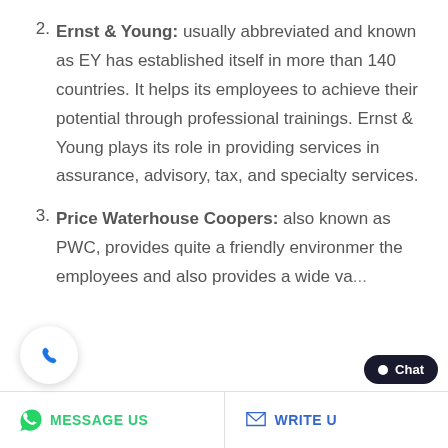Ernst & Young: usually abbreviated and known as EY has established itself in more than 140 countries. It helps its employees to achieve their potential through professional trainings. Ernst & Young plays its role in providing services in assurance, advisory, tax, and specialty services.
Price Waterhouse Coopers: also known as PWC, provides quite a friendly environment the employees and also provides a wide va...
MESSAGE US   WRITE U...